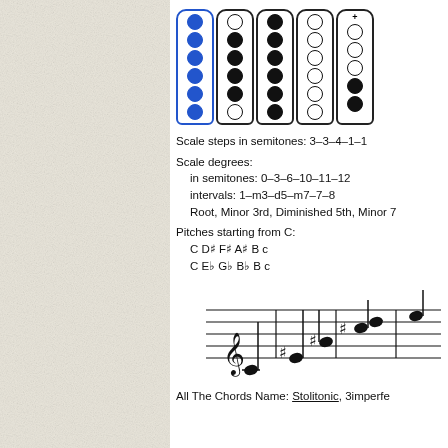[Figure (illustration): Fingering diagram for a wind instrument showing 5 tone columns with blue-filled and black-filled holes in various open/closed patterns]
Scale steps in semitones: 3–3–4–1–1
Scale degrees:
  in semitones: 0–3–6–10–11–12
  intervals: 1–m3–d5–m7–7–8
  Root, Minor 3rd, Diminished 5th, Minor 7...
Pitches starting from C:
  C D♯ F♯ A♯ B c
  C E♭ G♭ B♭ B c
[Figure (illustration): Musical staff showing a scale in treble clef with sharps, notes ascending]
All The Chords Name: Stolitonic, 3imperfe...